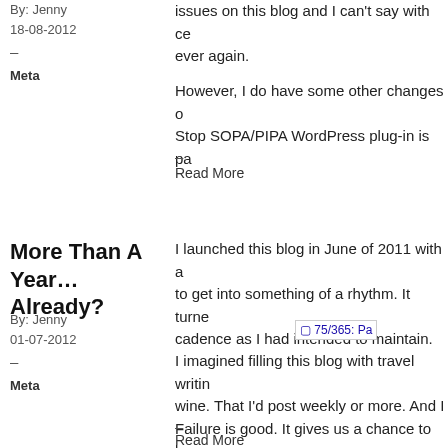issues on this blog and I can't say with ce ever again.
However, I do have some other changes o Stop SOPA/PIPA WordPress plug-in is pa
–
Read More
By: Jenny
18-08-2012
–
Meta
More Than A Year… Already?
I launched this blog in June of 2011 with a to get into something of a rhythm. It turne cadence as I had intended to maintain.
[Figure (screenshot): Thumbnail image labeled 75/365: Pa]
I imagined filling this blog with travel writin wine. That I'd post weekly or more. And I Failure is good. It gives us a chance to lea
–
Read More
By: Jenny
01-07-2012
–
Meta